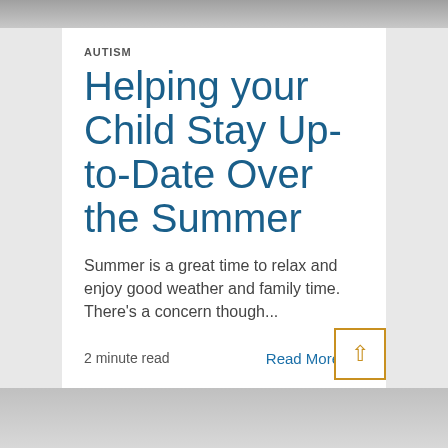AUTISM
Helping your Child Stay Up-to-Date Over the Summer
Summer is a great time to relax and enjoy good weather and family time. There's a concern though...
2 minute read
Read More →